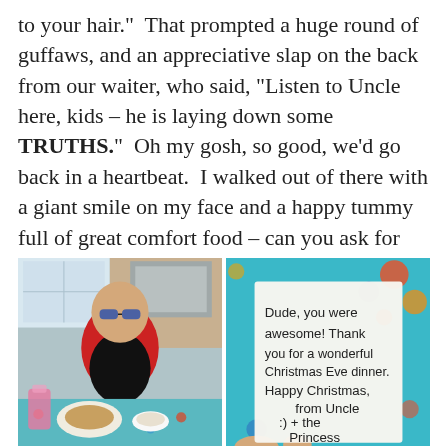to your hair." That prompted a huge round of guffaws, and an appreciative slap on the back from our waiter, who said, "Listen to Uncle here, kids – he is laying down some TRUTHS." Oh my gosh, so good, we'd go back in a heartbeat. I walked out of there with a giant smile on my face and a happy tummy full of great comfort food – can you ask for anything more?
[Figure (photo): Left photo: A bald man wearing sunglasses and a red shirt sitting at a diner table with food and a pink drink. Right photo: A handwritten note on a white piece of paper against a colorful teal tablecloth, reading: 'Dude, you were awesome! Thank you for a wonderful Christmas Eve dinner. Happy Christmas, from Uncle :) + the Princess [partially cut off]']